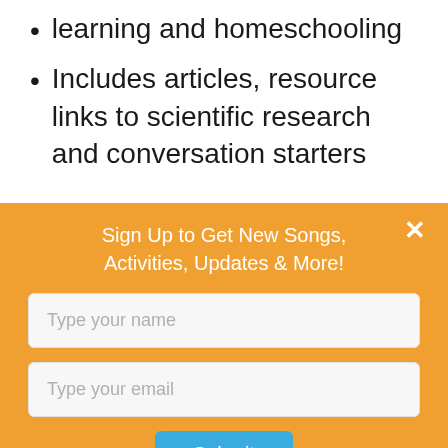learning and homeschooling
Includes articles, resource links to scientific research and conversation starters
Sign Up to Get New Songs, Activities, Updates & More!
Type your name
Type your email
Submit